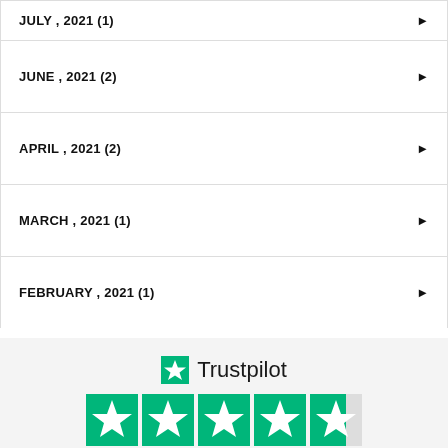JULY , 2021 (1)
JUNE , 2021 (2)
APRIL , 2021 (2)
MARCH , 2021 (1)
FEBRUARY , 2021 (1)
[Figure (logo): Trustpilot logo with green star, 4.7 TrustScore rating shown with 5 green star icons and 7,336 reviews]
Showing our 5 star reviews